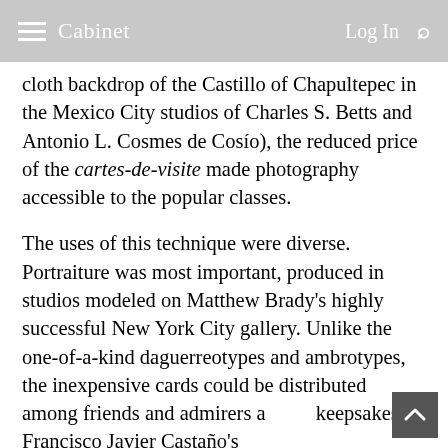≡ Cabinet   Log In 🔍
cloth backdrop of the Castillo of Chapultepec in the Mexico City studios of Charles S. Betts and Antonio L. Cosmes de Cosío), the reduced price of the cartes-de-visite made photography accessible to the popular classes.
The uses of this technique were diverse. Portraiture was most important, produced in studios modeled on Matthew Brady's highly successful New York City gallery. Unlike the one-of-a-kind daguerreotypes and ambrotypes, the inexpensive cards could be distributed among friends and admirers as keepsakes. Francisco Javier Castaño's